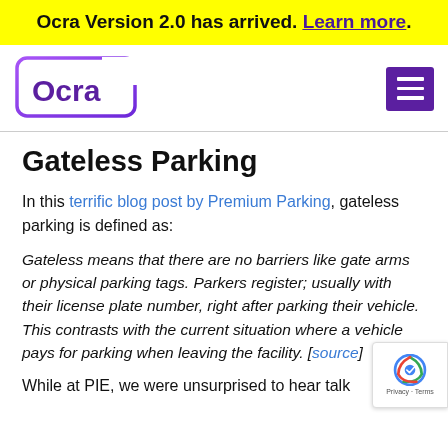Ocra Version 2.0 has arrived. Learn more.
[Figure (logo): Ocra logo with purple bracket and text]
Gateless Parking
In this terrific blog post by Premium Parking, gateless parking is defined as:
Gateless means that there are no barriers like gate arms or physical parking tags. Parkers register; usually with their license plate number, right after parking their vehicle. This contrasts with the current situation where a vehicle pays for parking when leaving the facility. [source]
While at PIE, we were unsurprised to hear talk